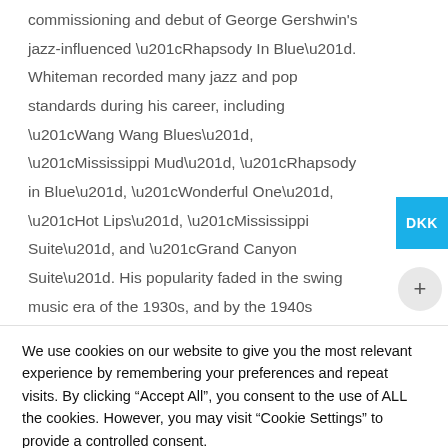commissioning and debut of George Gershwin's jazz-influenced “Rhapsody In Blue”. Whiteman recorded many jazz and pop standards during his career, including “Wang Wang Blues”, “Mississippi Mud”, “Rhapsody in Blue”, “Wonderful One”, “Hot Lips”, “Mississippi Suite”, and “Grand Canyon Suite”. His popularity faded in the swing music era of the 1930s, and by the 1940s Whiteman was semi-retired from music. Whiteman’s place in the history of early jazz is
We use cookies on our website to give you the most relevant experience by remembering your preferences and repeat visits. By clicking “Accept All”, you consent to the use of ALL the cookies. However, you may visit "Cookie Settings" to provide a controlled consent.
Cookie Settings
Accept All